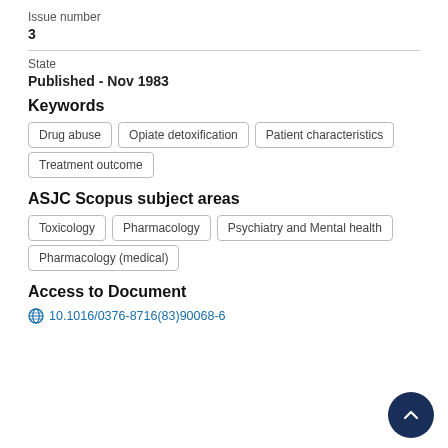Issue number
3
State
Published - Nov 1983
Keywords
Drug abuse
Opiate detoxification
Patient characteristics
Treatment outcome
ASJC Scopus subject areas
Toxicology
Pharmacology
Psychiatry and Mental health
Pharmacology (medical)
Access to Document
10.1016/0376-8716(83)90068-6